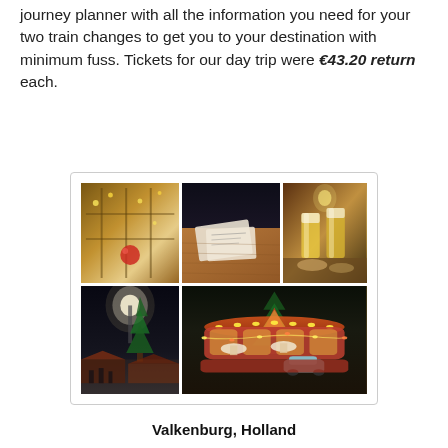journey planner with all the information you need for your two train changes to get you to your destination with minimum fuss. Tickets for our day trip were €43.20 return each.
[Figure (photo): Collage of five photos from a Christmas market visit: top-left shows a festive indoor/outdoor scene with Christmas decorations and warm lights; top-middle shows a close-up of tickets or pamphlets on a wooden surface; top-right shows beer glasses and food on a table in a warm-lit bar; bottom-left shows a night scene of a Christmas market with a lit tree and market stalls; bottom-right shows an ornate illuminated carousel with horses and a small vintage car, with a Christmas tree behind.]
Valkenburg, Holland